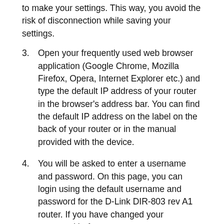to make your settings. This way, you avoid the risk of disconnection while saving your settings.
Open your frequently used web browser application (Google Chrome, Mozilla Firefox, Opera, Internet Explorer etc.) and type the default IP address of your router in the browser's address bar. You can find the default IP address on the label on the back of your router or in the manual provided with the device.
You will be asked to enter a username and password. On this page, you can login using the default username and password for the D-Link DIR-803 rev A1 router. If you have changed your password before, enter your current password. If you do not remember your password, you can follow the steps below.
D-Link DIR-803 rev A1 Router